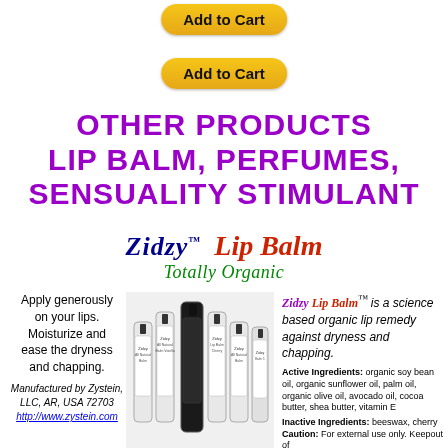[Figure (screenshot): Add to Cart button (top), golden rounded rectangle button]
[Figure (screenshot): Add to Cart button (second), golden rounded rectangle button]
OTHER PRODUCTS LIP BALM, PERFUMES, SENSUALITY STIMULANT
[Figure (logo): Zidzy™ Lip Balm Totally Organic logo text]
Apply generously on your lips. Moisturize and ease the dryness and chapping.
Manufactured by Zystein, LLC, AR, USA 72703 http://www.zystein.com
[Figure (photo): Photo of multiple Zidzy lip balm tubes/rollers in various flavors]
Zidzy Lip Balm™ is a science based organic lip remedy against dryness and chapping.
Active Ingredients: organic soy bean oil, organic sunflower oil, palm oil, organic olive oil, avocado oil, cocoa butter, shea butter, vitamin E
Inactive Ingredients: beeswax, cherry Caution: For external use only. Keepout of